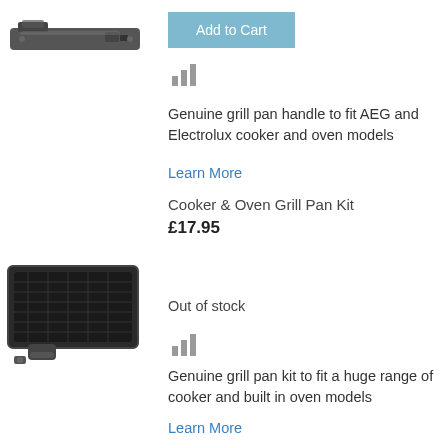[Figure (photo): Grill pan handle part, dark metallic elongated piece]
Add to Cart
[Figure (infographic): Bar chart icon (signal/stats icon with 3 bars)]
Genuine grill pan handle to fit AEG and Electrolux cooker and oven models
Learn More
Cooker & Oven Grill Pan Kit
£17.95
[Figure (photo): Cooker and oven grill pan kit, black tray with grid and handle]
Out of stock
[Figure (infographic): Bar chart icon (signal/stats icon with 3 bars)]
Genuine grill pan kit to fit a huge range of cooker and built in oven models
Learn More